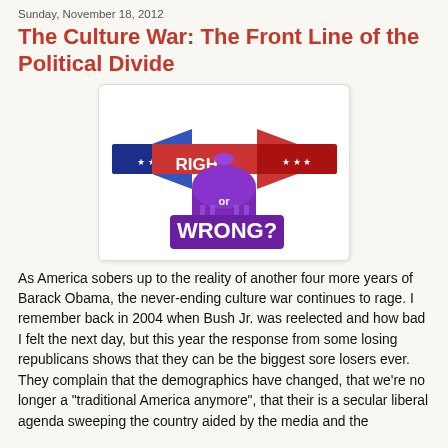Sunday, November 18, 2012
The Culture War: The Front Line of the Political Divide
[Figure (illustration): Graphic showing blue left-pointing arrow labeled 'LEFT' and red right-pointing arrow labeled 'RIGHT', overlaid on a purple Capitol building dome, with text 'or WRONG?' in white below.]
As America sobers up to the reality of another four more years of Barack Obama, the never-ending culture war continues to rage. I remember back in 2004 when Bush Jr. was reelected and how bad I felt the next day, but this year the response from some losing republicans shows that they can be the biggest sore losers ever. They complain that the demographics have changed, that we're no longer a "traditional America anymore", that their is a secular liberal agenda sweeping the country aided by the media and the